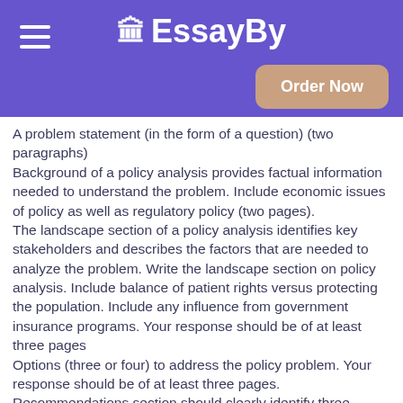EB EssayBy
A problem statement (in the form of a question) (two paragraphs)
Background of a policy analysis provides factual information needed to understand the problem. Include economic issues of policy as well as regulatory policy (two pages).
The landscape section of a policy analysis identifies key stakeholders and describes the factors that are needed to analyze the problem. Write the landscape section on policy analysis. Include balance of patient rights versus protecting the population. Include any influence from government insurance programs. Your response should be of at least three pages
Options (three or four) to address the policy problem. Your response should be of at least three pages.
Recommendations section should clearly identify three